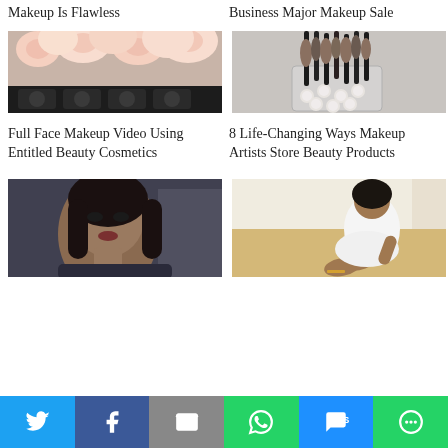Makeup Is Flawless
Business Major Makeup Sale
[Figure (photo): Makeup products with pink flowers on top]
[Figure (photo): Makeup brushes in a glass container with pearls]
Full Face Makeup Video Using Entitled Beauty Cosmetics
8 Life-Changing Ways Makeup Artists Store Beauty Products
[Figure (photo): Woman selfie in a car]
[Figure (photo): Woman in white dress sitting on sand at beach]